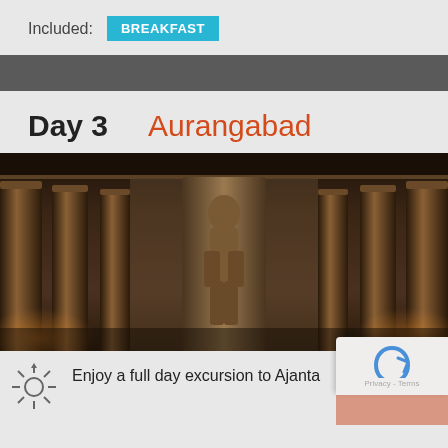Included: BREAKFAST
Day 3   Aurangabad
[Figure (photo): Interior of Ajanta Caves showing ornate stone pillars and a central carved statue/figure, with warm amber lighting on the sides]
Enjoy a full day excursion to Ajanta